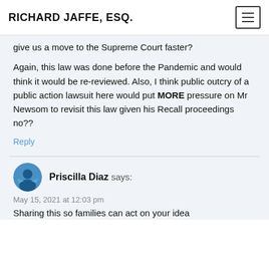RICHARD JAFFE, ESQ.
give us a move to the Supreme Court faster?
Again, this law was done before the Pandemic and would think it would be re-reviewed. Also, I think public outcry of a public action lawsuit here would put MORE pressure on Mr Newsom to revisit this law given his Recall proceedings no??
Reply
Priscilla Diaz says:
May 15, 2021 at 12:03 pm
Sharing this so families can act on your idea